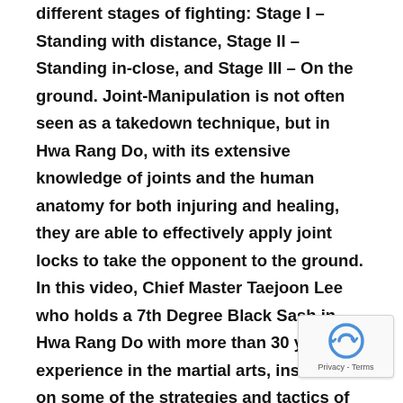different stages of fighting: Stage I – Standing with distance, Stage II – Standing in-close, and Stage III – On the ground. Joint-Manipulation is not often seen as a takedown technique, but in Hwa Rang Do, with its extensive knowledge of joints and the human anatomy for both injuring and healing, they are able to effectively apply joint locks to take the opponent to the ground. In this video, Chief Master Taejoon Lee who holds a 7th Degree Black Sash in Hwa Rang Do with more than 30 years experience in the martial arts, instructs on some of the strategies and tactics of executing and effectively applying the Joint Manipulation Takedowns. Please check back for additional videos dealing with subject as well as our Go Too Gi (which means